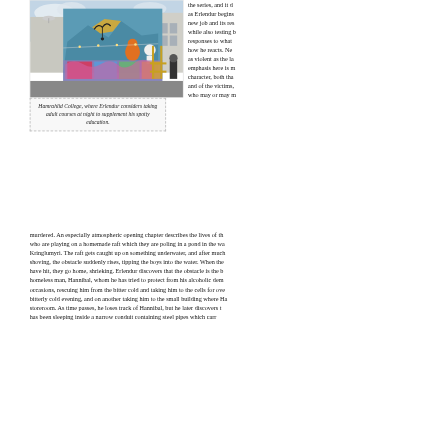[Figure (photo): Street mural / graffiti art on the side of a building, with colorful graffiti lettering and figures on a blue background. A person walks in the foreground near scaffolding.]
Hamrahlid College, where Erlendur considers taking adult courses at night to supplement his spotty education.
the series, and it d as Erlendur begins new job and its res while also testing b responses to what how he reacts. Ne as violent as the la emphasis here is m character, both tha and of the victims, who may or may m murdered. An especially atmospheric opening chapter describes the lives of th who are playing on a homemade raft which they are poling in a pond in the wa Kringlumyri. The raft gets caught up on something underwater, and after much shoving, the obstacle suddenly rises, tipping the boys into the water. When the have hit, they go home, shrieking. Erlendur discovers that the obstacle is the b homeless man, Hannibal, whom he has tried to protect from his alcoholic dem occasions, rescuing him from the bitter cold and taking him to the cells for ove bitterly cold evening, and on another taking him to the small building where Ha storeroom. As time passes, he loses track of Hannibal, but he later discovers t has been sleeping inside a narrow conduit containing steel pipes which carr